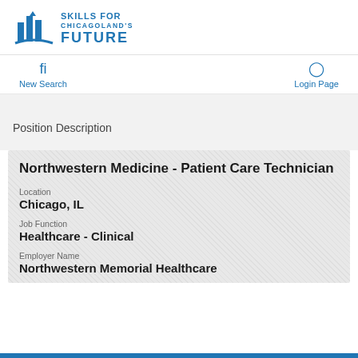[Figure (logo): Skills for Chicagoland's Future logo with blue building/pillar graphic and text]
New Search
Login Page
Position Description
Northwestern Medicine - Patient Care Technician
Location
Chicago, IL
Job Function
Healthcare - Clinical
Employer Name
Northwestern Memorial Healthcare